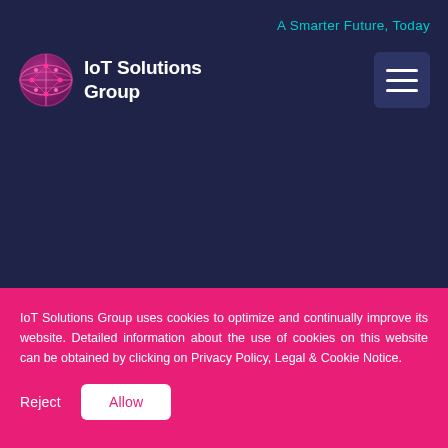A Smarter Future, Today
[Figure (logo): IoT Solutions Group globe logo — stylized globe with pink/magenta network lines]
IoT Solutions Group
[Figure (other): Hamburger menu button — three horizontal white lines on dark blue rounded square]
IoT Solutions Group uses cookies to optimize and continually improve its website. Detailed information about the use of cookies on this website can be obtained by clicking on Privacy Policy, Legal & Cookie Notice.
Reject
Allow